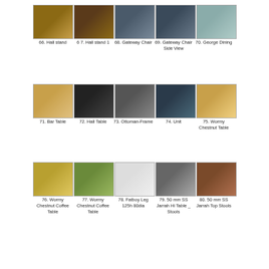[Figure (photo): Grid of furniture product photos, items 66-70: Hall stand, Hall stand 1, Gateway Chair, Gateway Chair Side View, George Dining]
66. Hall stand | 67. Hall stand 1 | 68. Gateway Chair | 69. Gateway Chair Side View | 70. George Dining
[Figure (photo): Grid of furniture product photos, items 71-75: Bar Table, Hall Table, Ottoman-Frame, Unit, Wormy Chestnut Table]
71. Bar Table | 72. Hall Table | 73. Ottoman-Frame | 74. Unit | 75. Wormy Chestnut Table
[Figure (photo): Grid of furniture product photos, items 76-80: Wormy Chestnut Coffee Table, Wormy Chestnut Coffee Table, Fatboy Leg 125h 80dia, 50mm SS Jarrah Hi Table _ Stools, 50mm SS Jarrah Top Stools]
76. Wormy Chestnut Coffee Table | 77. Wormy Chestnut Coffee Table | 78. Fatboy Leg 125h 80dia | 79. 50mm SS Jarrah Hi Table _ Stools | 80. 50mm SS Jarrah Top Stools